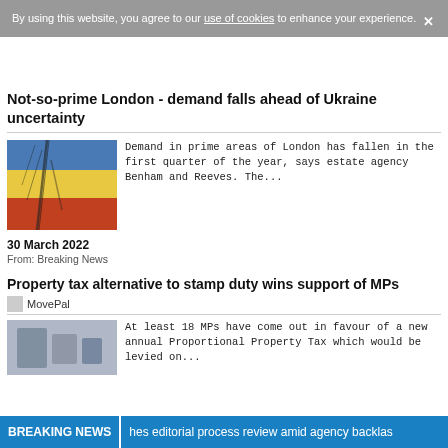By using this website, you agree to our use of cookies to enhance your experience.
Not-so-prime London - demand falls ahead of Ukraine uncertainty
[Figure (photo): Image of cracked paint showing blue, yellow and red flag colors (Ukraine/Russia flags)]
Demand in prime areas of London has fallen in the first quarter of the year, says estate agency Benham and Reeves. The...
30 March 2022
From: Breaking News
Property tax alternative to stamp duty wins support of MPs
[Figure (logo): MovePal logo]
At least 18 MPs have come out in favour of a new annual Proportional Property Tax which would be levied on...
BREAKING NEWS  hes editorial process review amid agency backlas